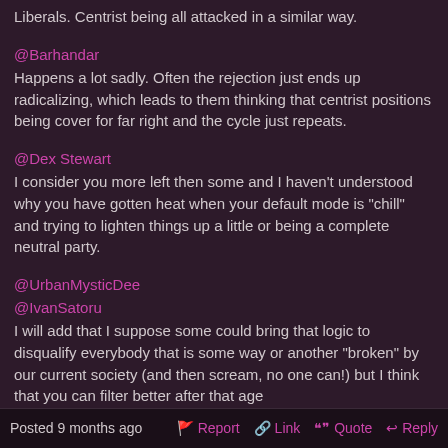Liberals. Centrist being all attacked in a similar way.
@Barhandar
Happens a lot sadly. Often the rejection just ends up radicalizing, which leads to them thinking that centrist positions being cover for far right and the cycle just repeats.
@Dex Stewart
I consider you more left then some and I haven't understood why you have gotten heat when your default mode is "chill" and trying to lighten things up a little or being a complete neutral party.
@UrbanMysticDee
@IvanSatoru
I will add that I suppose some could bring that logic to disqualify everybody that is some way or another "broken" by our current society (and then scream, no one can!) but I think that you can filter better after that age [REDACTED]
@YourPalContrail
Slurs, etc, that is a whole other can of worms and I probably have an odd view on those compared to either side that screams "Yes!" and "No!" but I am too tired to explain that right now.
Posted 9 months ago    Report    Link    Quote    Reply